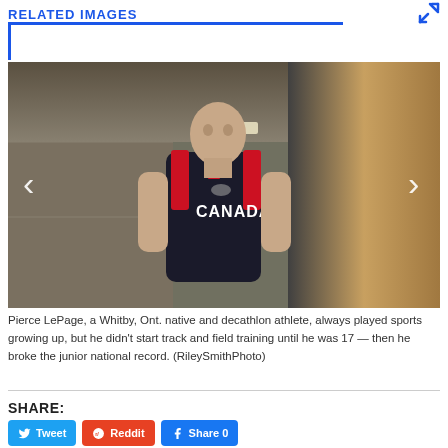RELATED IMAGES
[Figure (photo): Pierce LePage, a Canadian decathlon athlete, wearing a Canadian national team uniform (black and red tank top with CANADA lettering and Nike logo), standing in a concrete tunnel/corridor, looking upward. Photo by RileySmithPhoto.]
Pierce LePage, a Whitby, Ont. native and decathlon athlete, always played sports growing up, but he didn't start track and field training until he was 17 — then he broke the junior national record. (RileySmithPhoto)
SHARE:
Tweet
Reddit
Share 0